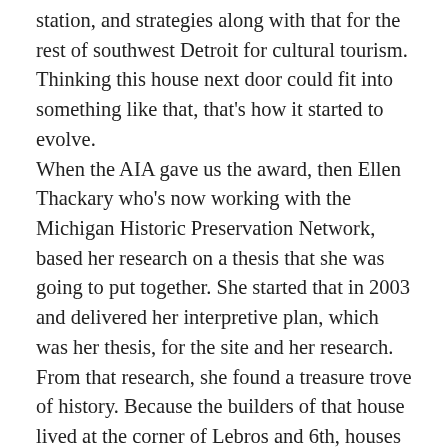station, and strategies along with that for the rest of southwest Detroit for cultural tourism. Thinking this house next door could fit into something like that, that's how it started to evolve. When the AIA gave us the award, then Ellen Thackary who's now working with the Michigan Historic Preservation Network, based her research on a thesis that she was going to put together. She started that in 2003 and delivered her interpretive plan, which was her thesis, for the site and her research. From that research, she found a treasure trove of history. Because the builders of that house lived at the corner of Lebros and 6th, houses that face what are now side streets were main streets and the numbered streets were side streets, in most circumstances. And the Andrews family, she found out, both husband and wife died in the early 1850s in cholera epidemics and when Mrs. Andrews died, soon after her husband did, they left a child and because they did not have a will, all their stuff went to